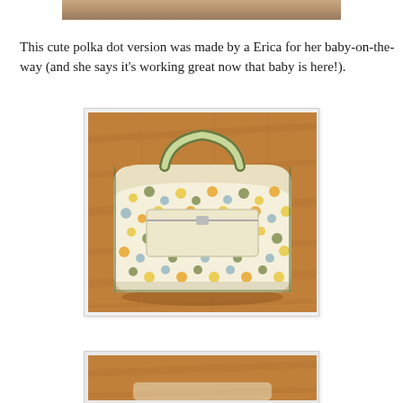[Figure (photo): Partial top edge of a photo, cropped — showing bottom portion of an image, likely a cat or person]
This cute polka dot version was made by a Erica for her baby-on-the-way (and she says it's working great now that baby is here!).
[Figure (photo): A polka dot diaper bag lying flat on a wooden floor. The bag has a yellow/cream base fabric with multicolored dots in green, yellow, and gray/blue. It has a strap folded over the top and a zipper pocket visible on the front.]
[Figure (photo): Partial bottom image — cropped top portion of another photo of the bag or related item on wooden floor]